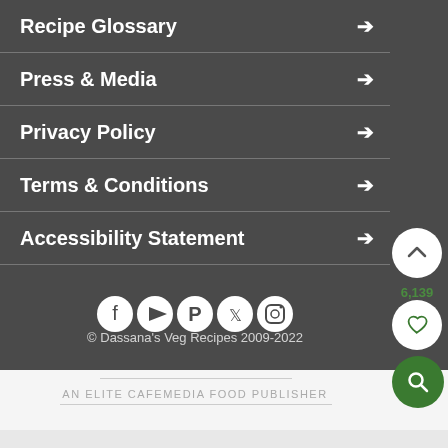Recipe Glossary →
Press & Media →
Privacy Policy →
Terms & Conditions →
Accessibility Statement →
[Figure (illustration): Social media icons: Facebook, YouTube, Pinterest, Twitter, Instagram]
© Dassana's Veg Recipes 2009-2022
[Figure (illustration): Scroll-up chevron button (white circle), heart/like button (white circle) with count 6,139, green search button]
AN ELITE CAFEMEDIA FOOD PUBLISHER